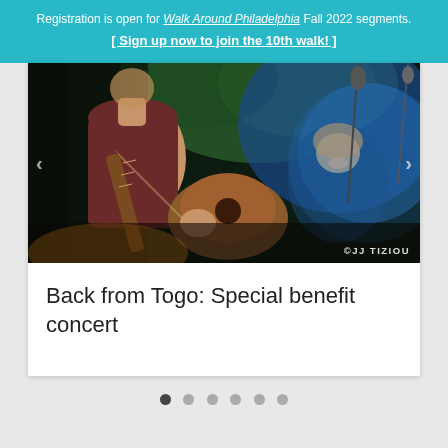Registration is open for Walk Around Philadelphia Fall 2022 segments. [ Sign up now to join the 10th walk! ]
[Figure (photo): Concert photo showing a musician playing acoustic guitar in the foreground wearing a dark red tank top, with a female musician or performer visible in the background under blue stage lighting. Photo credit: © JJ TIZIOU]
Back from Togo: Special benefit concert